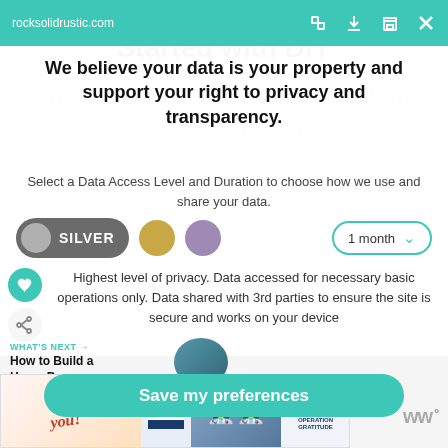rocksolidrustic.com
instructions. How We Got Started with DIY
We believe your data is your property and support your right to privacy and transparency.
Select a Data Access Level and Duration to choose how we use and share your data.
[Figure (screenshot): Privacy consent UI with Silver toggle selected, gold and purple tier circles, and a 1 month duration dropdown]
Highest level of privacy. Data accessed for necessary basic operations only. Data shared with 3rd parties to ensure the site is secure and works on your device
WHAT'S NEXT → How to Build a Home Bar –...
Save my preferences
[Figure (photo): Advertisement banner: Thank you with Operation Gratitude imagery]